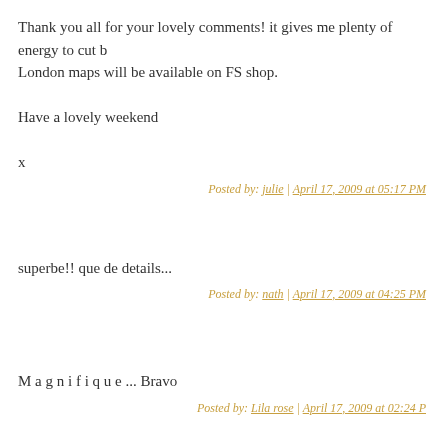Thank you all for your lovely comments! it gives me plenty of energy to cut b
London maps will be available on FS shop.
Have a lovely weekend
x
Posted by: julie | April 17, 2009 at 05:17 PM
superbe!! que de details...
Posted by: nath | April 17, 2009 at 04:25 PM
M a g n i f i q u e ... Bravo
Posted by: Lila rose | April 17, 2009 at 02:24 P